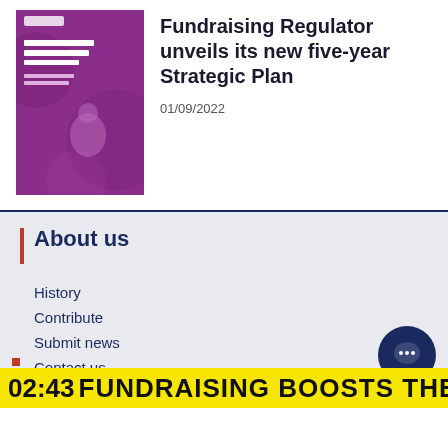[Figure (photo): Thumbnail image of a purple booklet titled 'Fundraising regulation for the future, Five-year Strategy 2022-2027']
Fundraising Regulator unveils its new five-year Strategic Plan
01/09/2022
About us
History
Contribute
Submit news
Contact us
FAQs
02:43 FUNDRAISING BOOSTS THE